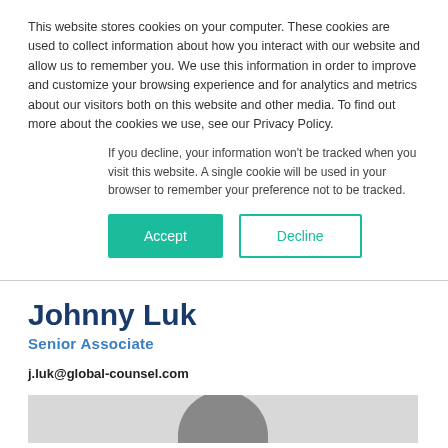This website stores cookies on your computer. These cookies are used to collect information about how you interact with our website and allow us to remember you. We use this information in order to improve and customize your browsing experience and for analytics and metrics about our visitors both on this website and other media. To find out more about the cookies we use, see our Privacy Policy.
If you decline, your information won't be tracked when you visit this website. A single cookie will be used in your browser to remember your preference not to be tracked.
Accept | Decline
Johnny Luk
Senior Associate
j.luk@global-counsel.com
[Figure (photo): Partial view of a person's photo at the bottom of the page, showing the top of their head]